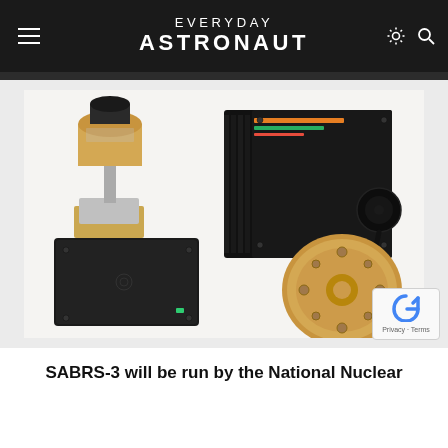EVERYDAY ASTRONAUT
[Figure (photo): Four electronic hardware components of the SABRS-3 system arranged on a white surface: a copper/gold cylindrical sensor unit on a metal bracket (top left), a large black finned electronics box with cables (top right), a flat black rectangular electronics box (bottom left), and a circular copper/gold disc component (bottom right).]
SABRS-3 will be run by the National Nuclear